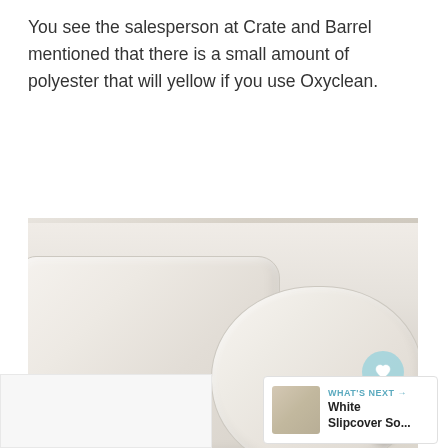You see the salesperson at Crate and Barrel mentioned that there is a small amount of polyester that will yellow if you use Oxyclean.
[Figure (photo): Close-up photo of two white/cream pillow inserts or throw pillows stacked or overlapping, showing their fabric texture and piped edges. Watermark 'HAPPY HAPPY NESTER' in lower left. Heart icon and share icon buttons visible on the right side.]